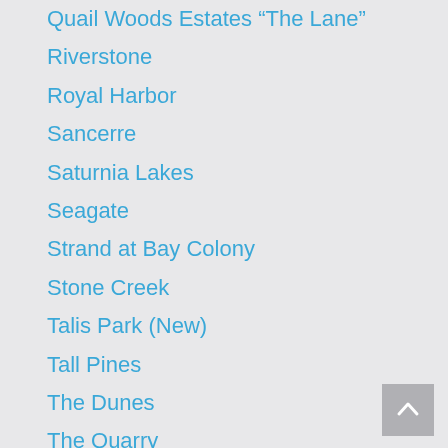Quail Woods Estates “The Lane”
Riverstone
Royal Harbor
Sancerre
Saturnia Lakes
Seagate
Strand at Bay Colony
Stone Creek
Talis Park (New)
Tall Pines
The Dunes
The Quarry
Tiburon (New)
Treviso Bay